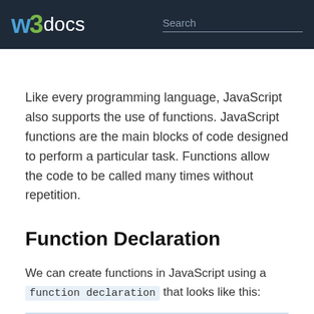W3docs | Search
Like every programming language, JavaScript also supports the use of functions. JavaScript functions are the main blocks of code designed to perform a particular task. Functions allow the code to be called many times without repetition.
Function Declaration
We can create functions in JavaScript using a function declaration that looks like this: